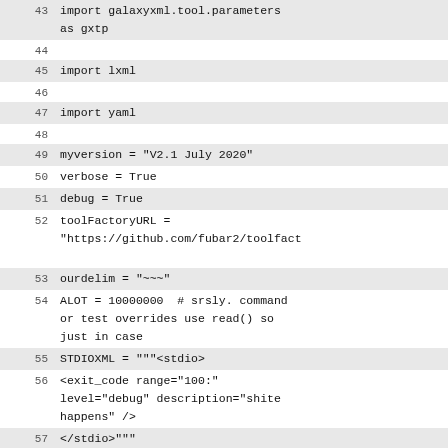43  import galaxyxml.tool.parameters as gxtp
44
45  import lxml
46
47  import yaml
48
49  myversion = "V2.1 July 2020"
50  verbose = True
51  debug = True
52  toolFactoryURL = "https://github.com/fubar2/toolfact
53  ourdelim = "~~~"
54  ALOT = 10000000  # srsly. command or test overrides use read() so just in case
55  STDIOXML = """<stdio>
56  <exit_code range="100:" level="debug" description="shite happens" />
57  </stdio>"""
58
59  # -- input_files="$input_files~~~$CL~~~$
60  # ~~~$input_help"
61  IPATHPOS = 0
62  ICLPOS = 1